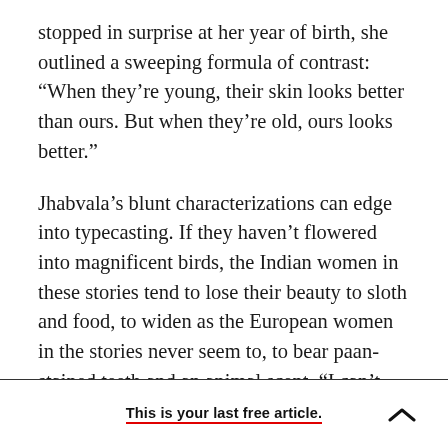stopped in surprise at her year of birth, she outlined a sweeping formula of contrast: “When they’re young, their skin looks better than ours. But when they’re old, ours looks better.”
Jhabvala’s blunt characterizations can edge into typecasting. If they haven’t flowered into magnificent birds, the Indian women in these stories tend to lose their beauty to sloth and food, to widen as the European women in the stories never seem to, to bear paan-stained teeth and an animal scent. “I can’t stand the smell!” yells the prim schoolteacher in “Miss Sahib,” once she’s back
This is your last free article.